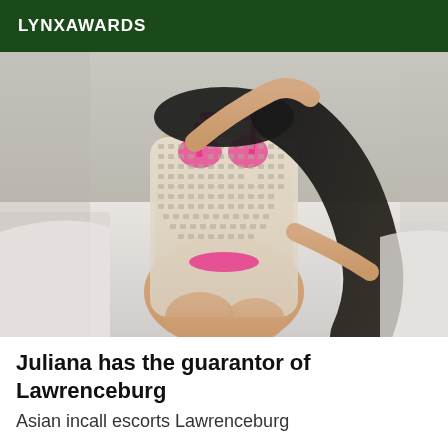LYNXAWARDS
[Figure (photo): Photo of a young woman sitting on a bed wearing a white mesh/crochet dress over a pink bikini, with long dark hair, photographed from behind/side angle in a bedroom setting.]
Juliana has the guarantor of Lawrenceburg
Asian incall escorts Lawrenceburg